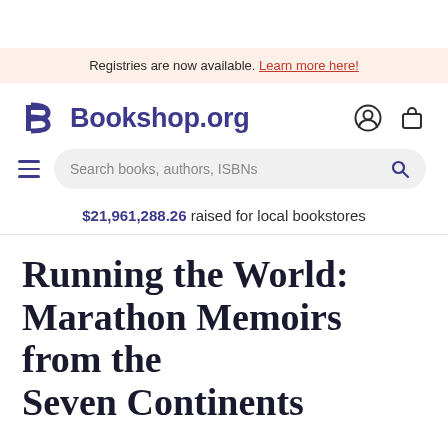Registries are now available. Learn more here!
[Figure (logo): Bookshop.org logo with stylized B mark and site name, plus user account and shopping bag icons]
Search books, authors, ISBNs
$21,961,288.26 raised for local bookstores
Running the World: Marathon Memoirs from the Seven Continents